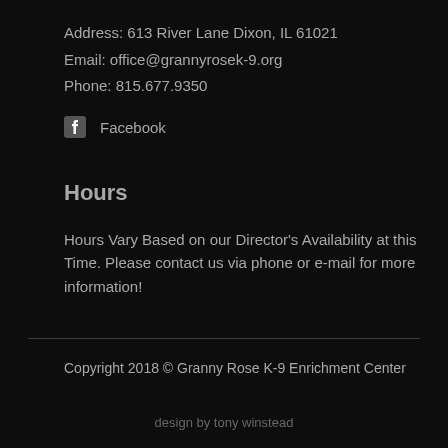Address: 613 River Lane Dixon, IL 61021
Email: office@grannyrosek-9.org
Phone: 815.677.9350
Facebook
Hours
Hours Vary Based on our Director's Availability at this Time. Please contact us via phone or e-mail for more information!
Copyright 2018 © Granny Rose K-9 Enrichment Center
design by tony winstead